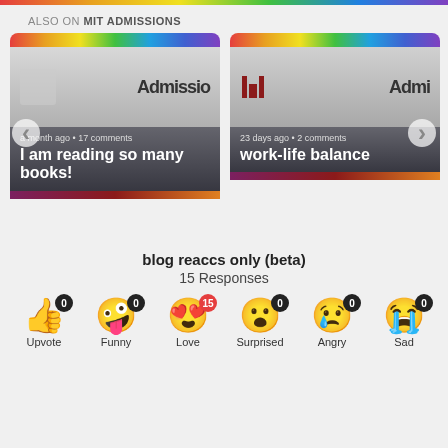ALSO ON MIT ADMISSIONS
[Figure (screenshot): Two blog post cards from MIT Admissions. Card 1: 'I am reading so many books!' posted a month ago, 17 comments. Card 2: 'work-life balance' posted 23 days ago, 2 comments. Navigation arrows on left and right.]
blog reaccs only (beta)
15 Responses
[Figure (infographic): Row of reaction emojis with counts: Upvote 0, Funny 0, Love 15, Surprised 0, Angry 0, Sad 0]